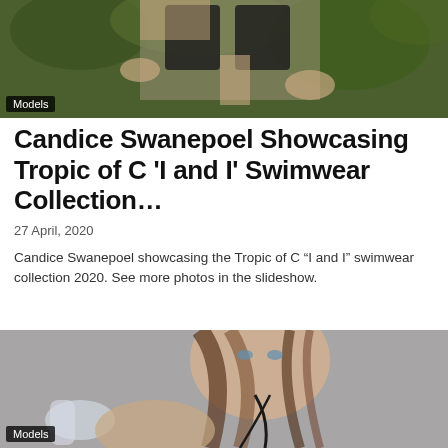[Figure (photo): Partial view of a model in a dark bikini top outdoors with green foliage background, cropped to show torso and hands]
Models
Candice Swanepoel Showcasing Tropic of C 'I and I' Swimwear Collection…
27 April, 2020
Candice Swanepoel showcasing the Tropic of C “I and I” swimwear collection 2020. See more photos in the slideshow.
[Figure (photo): Close-up portrait of Candice Swanepoel with wet-look hair, blue eyes, wearing dark strap swimwear, holding a clear bottle, against a grey background]
Models